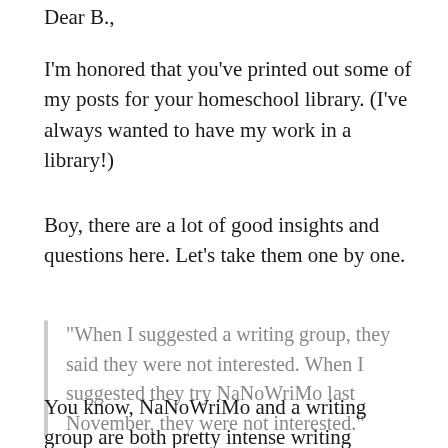Dear B.,
I'm honored that you've printed out some of my posts for your homeschool library. (I've always wanted to have my work in a library!)
Boy, there are a lot of good insights and questions here. Let’s take them one by one.
“When I suggested a writing group, they said they were not interested. When I suggested they try NaNoWriMo last November, they were not interested.”
You know, NaNoWriMo and a writing group are both pretty intense writing activities. I’m a